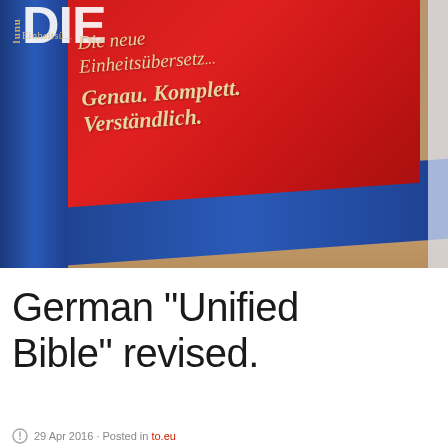[Figure (photo): Photo of a red and blue German Bible book (Einheitsübersetzung). The red cover reads: 'Die neue Einheitsübersetzung. Genau. Komplett. Verständlich.' in cream/gold italic text. A blue spine is visible on the left with 'DIE' text and 'Einheitsü...' label. Books are resting on a wooden desk surface.]
German "Unified Bible" revised.
29 Apr 2016 · Posted in to.eu